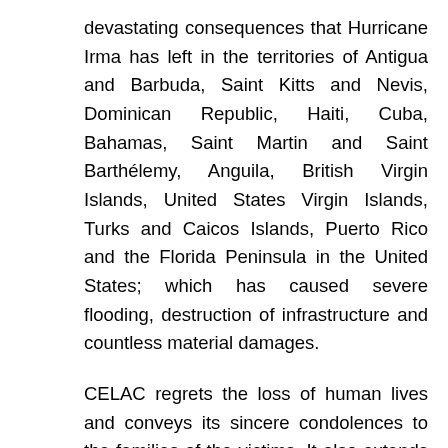devastating consequences that Hurricane Irma has left in the territories of Antigua and Barbuda, Saint Kitts and Nevis, Dominican Republic, Haiti, Cuba, Bahamas, Saint Martin and Saint Barthélemy, Anguila, British Virgin Islands, United States Virgin Islands, Turks and Caicos Islands, Puerto Rico and the Florida Peninsula in the United States; which has caused severe flooding, destruction of infrastructure and countless material damages.
CELAC regrets the loss of human lives and conveys its sincere condolences to the families of the victims. It also extends its solidarity with the thousands of people and families affected and express its support to the efforts made by the Governments of the Member States to prevent, manage and rehabilit...